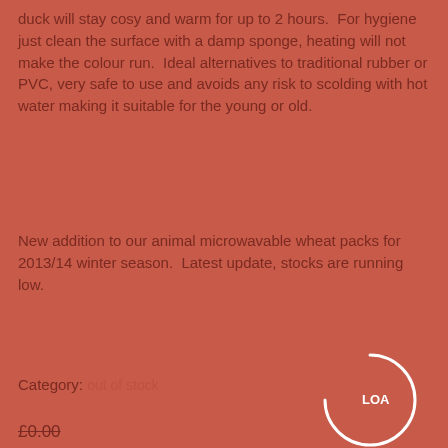duck will stay cosy and warm for up to 2 hours.  For hygiene just clean the surface with a damp sponge, heating will not make the colour run.  Ideal alternatives to traditional rubber or PVC, very safe to use and avoids any risk to scolding with hot water making it suitable for the young or old.
New addition to our animal microwavable wheat packs for 2013/14 winter season.  Latest update, stocks are running low.
Category: out of stock
£0.00
£0.00
Availability: Sold Out
WISH LIST
COMPARE
Reviews    Specification    Any Questions
[Figure (other): Loading spinner overlay (partial arc with 'LOA' text visible), overlapping the product description text.]